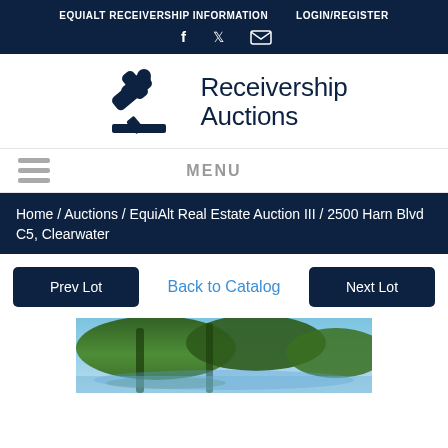EQUIALT RECEIVERSHIP INFORMATION   LOGIN/REGISTER
[Figure (screenshot): Social media icons: Facebook (f), Twitter (bird), Email (envelope)]
[Figure (logo): Receivership Auctions logo with gavel icon and text 'Receivership Auctions']
MENU
Home / Auctions / EquiAlt Real Estate Auction III / 2500 Harn Blvd C5, Clearwater
Prev Lot   Back to Catalog   Next Lot
[Figure (photo): Outdoor photo showing tree branches with leaves reflected in water, blue sky visible]